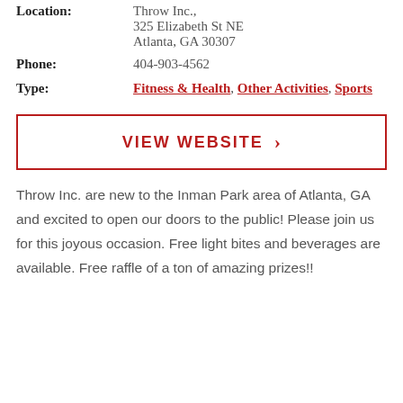| Location: | Throw Inc.,
325 Elizabeth St NE
Atlanta, GA 30307 |
| Phone: | 404-903-4562 |
| Type: | Fitness & Health, Other Activities, Sports |
VIEW WEBSITE →
Throw Inc. are new to the Inman Park area of Atlanta, GA and excited to open our doors to the public! Please join us for this joyous occasion. Free light bites and beverages are available. Free raffle of a ton of amazing prizes!!